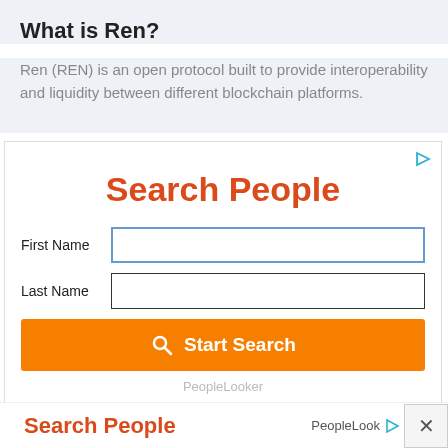What is Ren?
Ren (REN) is an open protocol built to provide interoperability and liquidity between different blockchain platforms.
[Figure (screenshot): Advertisement banner showing a 'Search People' form from PeopleLooker with First Name and Last Name input fields and an orange Start Search button.]
[Figure (screenshot): Bottom bar showing 'Search People' text in red-orange and PeopleLooker branding with a close button (X) on the right.]